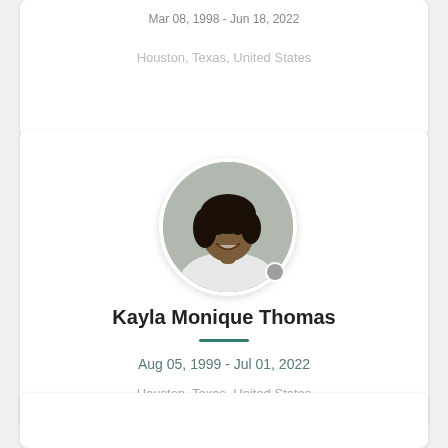Mar 08, 1998 - Jun 18, 2022
Houston, Texas, United States
[Figure (photo): Circular profile photo of Kayla Monique Thomas, a smiling woman with a short dark bob haircut, wearing a white top, with a gray status dot in the lower right of the circle.]
Kayla Monique Thomas
Aug 05, 1999 - Jul 01, 2022
Houston, Texas, United States